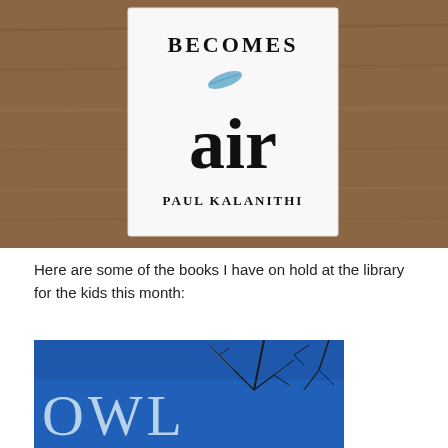[Figure (photo): Close-up photo of a book cover showing 'BECOMES air PAUL KALANITHI' on a white cover with a small blue feather illustration, placed on a wooden surface]
Here are some of the books I have on hold at the library for the kids this month:
[Figure (photo): Partial photo of a book cover with blue background showing bare tree branches and the word 'OWL' in large pale blue/white letters]